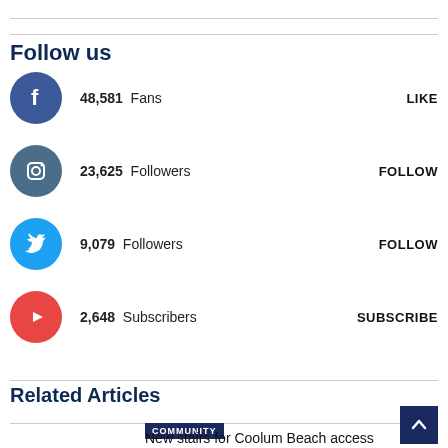Follow us
48,581  Fans  LIKE
23,625  Followers  FOLLOW
9,079  Followers  FOLLOW
2,648  Subscribers  SUBSCRIBE
Related Articles
COMMUNITY
New stairs for Coolum Beach access